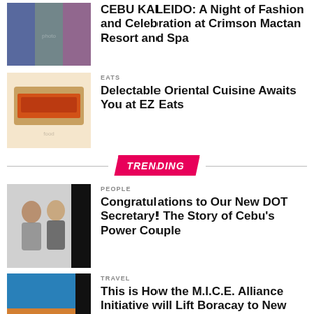[Figure (photo): Group photo of women in colorful gowns]
CEBU KALEIDO: A Night of Fashion and Celebration at Crimson Mactan Resort and Spa
[Figure (photo): Plate of Asian food with red sauce]
EATS
Delectable Oriental Cuisine Awaits You at EZ Eats
TRENDING
[Figure (photo): Man and woman posing together, dark block on right]
PEOPLE
Congratulations to Our New DOT Secretary! The Story of Cebu's Power Couple
[Figure (photo): Beach resort at sunset with dark block on right]
TRAVEL
This is How the M.I.C.E. Alliance Initiative will Lift Boracay to New Heights
[Figure (photo): Skechers store front with dark block on right]
EVENTS
Largest Skechers Store in the